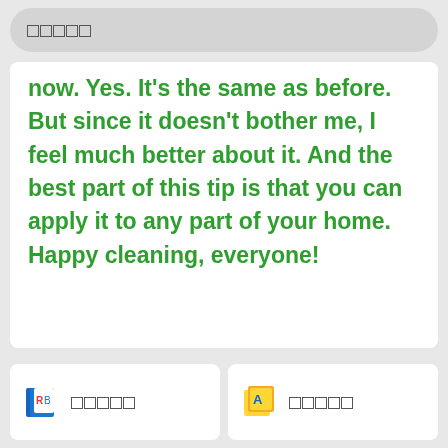□□□□□
now. Yes. It's the same as before. But since it doesn't bother me, I feel much better about it. And the best part of this tip is that you can apply it to any part of your home. Happy cleaning, everyone!
[Thai text] □□□□□□□□□□□□□□□□□□□□□□□□□□□□□□□□□□□□□□□□□□□□□□□□□□□□□□□□□□□□□□□□□□□□□□□□□□□□□□□□□□□□□□□□□□□□□□□□□□□□□□□□□□□□□□□□□□□□□□□□□□□□□□□□□□□□□□□□□□□□□□□□□□□□□□□□□□□□□□□□□□□□□□□□□□□□□□□□□□□□□□□□□□□□□□□□□□□!
□□□□□
□□□□□